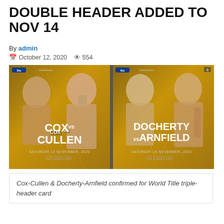DOUBLE HEADER ADDED TO NOV 14
By admin
October 12, 2020  554
[Figure (photo): Boxing promotional image split into two panels: left panel shows Cox vs Cullen fight poster with two male boxers, golden background, text 'COX vs CULLEN SATURDAY 14 NOVEMBER, 2020'; right panel shows Docherty vs Arnfield with two male boxers, text 'DOCHERTY vs ARNFIELD SATURDAY 14 NOVEMBER, 2020']
Cox-Cullen & Docherty-Arnfield confirmed for World Title triple-header card